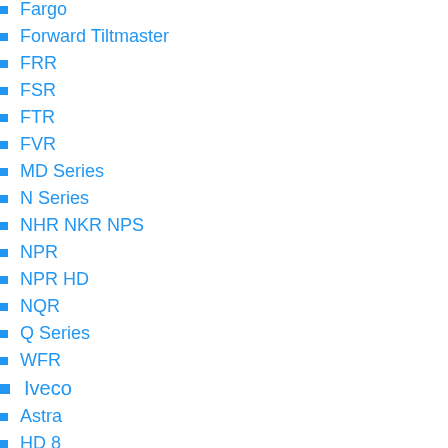Fargo
Forward Tiltmaster
FRR
FSR
FTR
FVR
MD Series
N Series
NHR NKR NPS
NPR
NPR HD
NQR
Q Series
WFR
Iveco
Astra
HD 8
Eurocargo
Euro Star